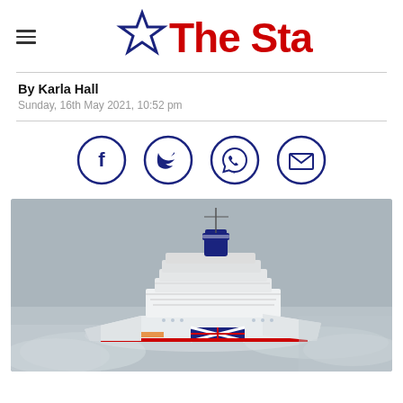The Star
By Karla Hall
Sunday, 16th May 2021, 10:52 pm
[Figure (infographic): Social share icons: Facebook, Twitter, WhatsApp, Email — dark navy outlined circles]
[Figure (photo): Aerial photograph of a large P&O cruise ship at sea, grey/cloudy sky, Union Jack livery on hull]